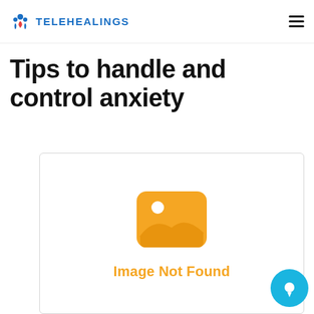TELEHEALINGS
Tips to handle and control anxiety
[Figure (other): Image Not Found placeholder with orange broken image icon and text 'Image Not Found' in orange]
[Figure (other): Blue circular chat button in bottom right corner]